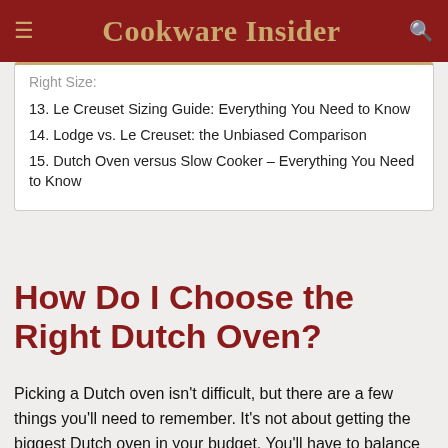Cookware Insider
13. Le Creuset Sizing Guide: Everything You Need to Know
14. Lodge vs. Le Creuset: the Unbiased Comparison
15. Dutch Oven versus Slow Cooker – Everything You Need to Know
How Do I Choose the Right Dutch Oven?
Picking a Dutch oven isn't difficult, but there are a few things you'll need to remember. It's not about getting the biggest Dutch oven in your budget. You'll have to balance some different characteristics to get the right one. Here's how to help make sure you aren't disappointed with your